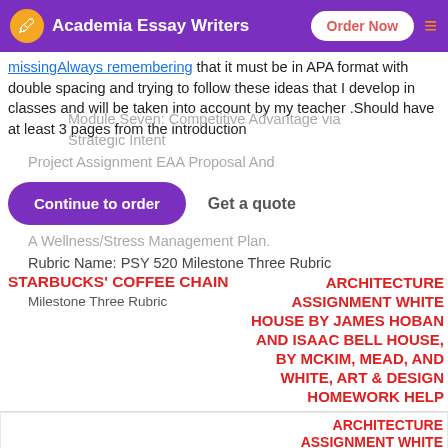Academia Essay Writers — Order Now
missingAlways remembering that it must be in APA format with double spacing and trying to follow these ideas that I develop in classes and will be taken into account by my teacher .Should have at least 3 pages from the introduction
Module Seven: Competitive Advantage via Strategic Intent
Project Assignment EAA Proposal And
Continue to order    Get a quote
A Wellness/Stress Management Plan.
Rubric Name: PSY 520 Milestone Three Rubric
STARBUCKS' COFFEE CHAIN
Milestone Three Rubric
ARCHITECTURE ASSIGNMENT WHITE HOUSE BY JAMES HOBAN AND ISAAC BELL HOUSE, BY MCKIM, MEAD, AND WHITE, ART & DESIGN HOMEWORK HELP
RECENT COMMENTS
ARCHITECTURE ASSIGNMENT WHITE HOUSE BY JAMES HOBAN AND ISAAC BELL HOUSE, BY MCKIM, MEAD, AND WHITE, ART & DESIGN HOMEWORK HELP